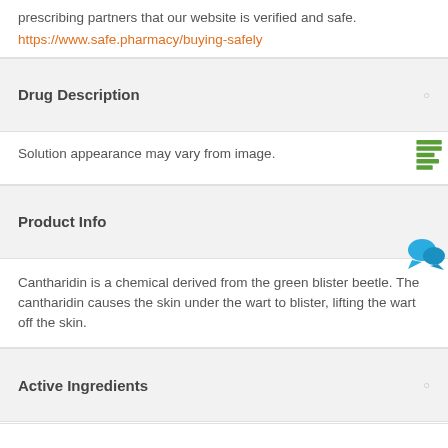prescribing partners that our website is verified and safe.
https://www.safe.pharmacy/buying-safely
Drug Description
Solution appearance may vary from image.
Product Info
Cantharidin is a chemical derived from the green blister beetle. The cantharidin causes the skin under the wart to blister, lifting the wart off the skin.
Active Ingredients